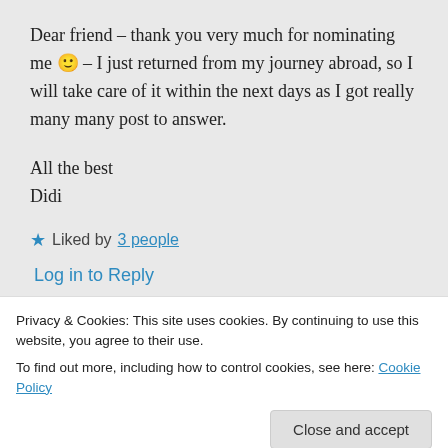Dear friend – thank you very much for nominating me 🙂 – I just returned from my journey abroad, so I will take care of it within the next days as I got really many many post to answer.
All the best
Didi
★ Liked by 3 people
Log in to Reply
Privacy & Cookies: This site uses cookies. By continuing to use this website, you agree to their use.
To find out more, including how to control cookies, see here: Cookie Policy
Close and accept
and forms.